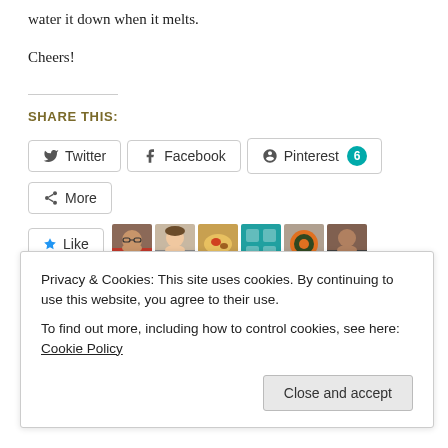water it down when it melts.
Cheers!
Share this:
Twitter Facebook Pinterest 6
More
Like
6 bloggers like this.
Privacy & Cookies: This site uses cookies. By continuing to use this website, you agree to their use. To find out more, including how to control cookies, see here: Cookie Policy
Close and accept